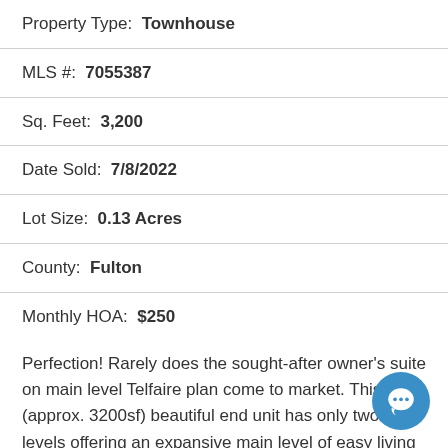Property Type: Townhouse
MLS #: 7055387
Sq. Feet: 3,200
Date Sold: 7/8/2022
Lot Size: 0.13 Acres
County: Fulton
Monthly HOA: $250
Perfection! Rarely does the sought-after owner's suite on main level Telfaire plan come to market. This large (approx. 3200sf) beautiful end unit has only two levels offering an expansive main level of easy living and perfect function. The charming details begin on the covered front porch, where one may sit and relax, welcoming friendly neighbors as they walk by. 120